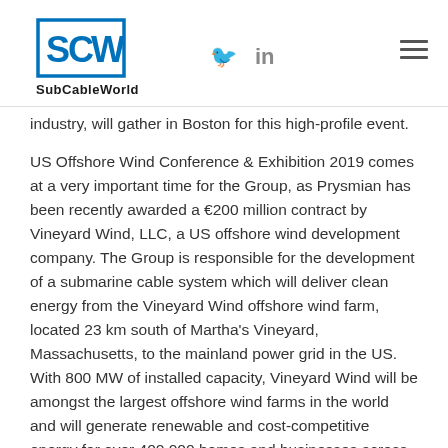SubCableWorld — social icons (Twitter, LinkedIn) and hamburger menu
industry, will gather in Boston for this high-profile event.
US Offshore Wind Conference & Exhibition 2019 comes at a very important time for the Group, as Prysmian has been recently awarded a €200 million contract by Vineyard Wind, LLC, a US offshore wind development company. The Group is responsible for the development of a submarine cable system which will deliver clean energy from the Vineyard Wind offshore wind farm, located 23 km south of Martha's Vineyard, Massachusetts, to the mainland power grid in the US. With 800 MW of installed capacity, Vineyard Wind will be amongst the largest offshore wind farms in the world and will generate renewable and cost-competitive energy for over 400,000 homes and businesses across the Commonwealth, while reducing carbon emissions by over 1.6 million tons per year.
"This recent award shows that Prysmian Group is ready to